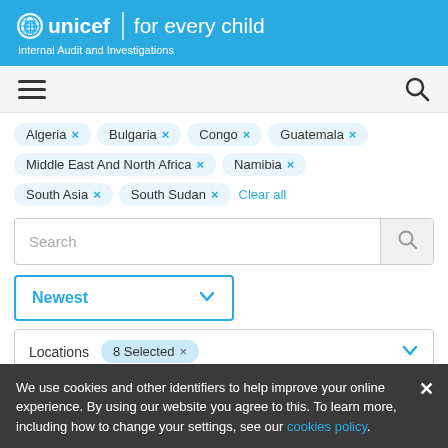unicef for every child — Internal Audit and Investigations
[Figure (screenshot): Hamburger menu icon (three horizontal bars) and search icon]
Algeria × Bulgaria × Congo × Guatemala × Middle East And North Africa × Namibia × South Asia × South Sudan × Clear all
Search
Newest
Locations   8 Selected ×
We use cookies and other identifiers to help improve your online experience. By using our website you agree to this. To learn more, including how to change your settings, see our cookies policy.